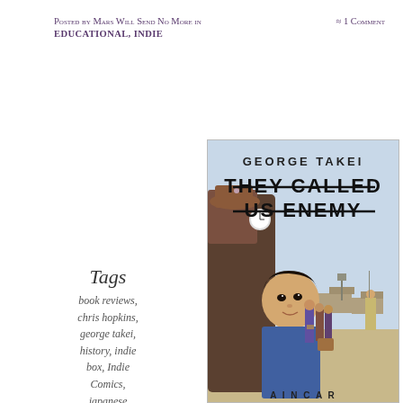Posted by Mars Will Send No More in ≈ 1 Comment educational, indie
Tags
book reviews,
chris hopkins,
george takei,
history, indie box, Indie Comics,
japanese internment,
racism, sulu,
they called us enemy, world war ii
[Figure (illustration): Book cover of 'They Called Us Enemy' by George Takei, showing a young Japanese-American boy looking up, surrounded by adults carrying luggage being escorted into an internment camp by an armed soldier. Title text reads GEORGE TAKEI - THEY CALLED US ENEMY.]